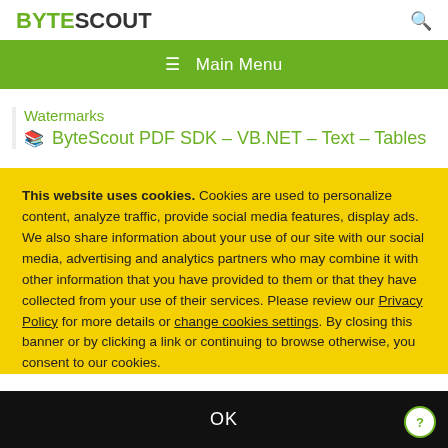[Figure (logo): ByteScout logo with BYTE in green and SCOUT in dark grey/black, bold text]
≡  Main Menu
Watermarks
ByteScout PDF SDK – VB.NET – Text – Tables
This website uses cookies. Cookies are used to personalize content, analyze traffic, provide social media features, display ads. We also share information about your use of our site with our social media, advertising and analytics partners who may combine it with other information that you have provided to them or that they have collected from your use of their services. Please review our Privacy Policy for more details or change cookies settings. By closing this banner or by clicking a link or continuing to browse otherwise, you consent to our cookies.
OK